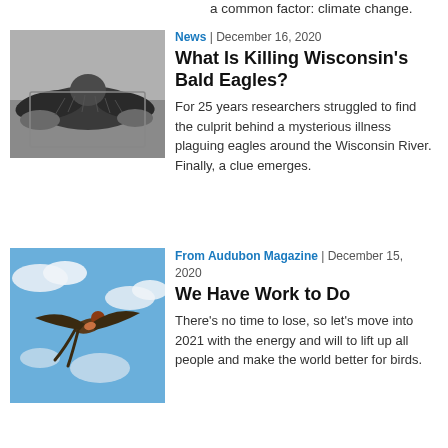a common factor: climate change.
[Figure (photo): Black and white photo of a bald eagle being examined on a table by gloved hands]
News | December 16, 2020
What Is Killing Wisconsin's Bald Eagles?
For 25 years researchers struggled to find the culprit behind a mysterious illness plaguing eagles around the Wisconsin River. Finally, a clue emerges.
[Figure (photo): Color photo of a swallow bird in flight against a blue sky with clouds]
From Audubon Magazine | December 15, 2020
We Have Work to Do
There's no time to lose, so let's move into 2021 with the energy and will to lift up all people and make the world better for birds.